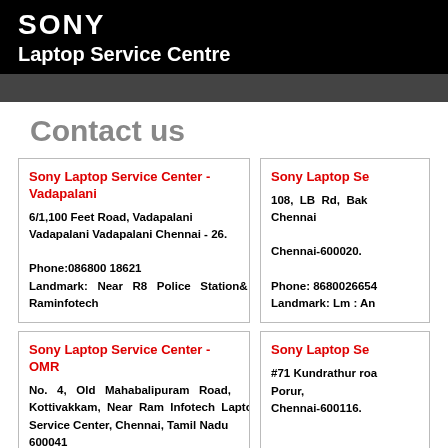SONY
Laptop Service Centre
Contact us
Sony Laptop Service Center - Vadapalani
6/1,100 Feet Road, Vadapalani Vadapalani Vadapalani Chennai - 26.

Phone:086800 18621
Landmark: Near R8 Police Station& Raminfotech
Sony Laptop Se
108, LB Rd, Bak
Chennai

Chennai-600020.

Phone: 86800266654
Landmark: Lm : An
Sony Laptop Service Center - OMR
No. 4, Old Mahabalipuram Road, Kottivakkam, Near Ram Infotech Laptop Service Center, Chennai, Tamil Nadu 600041
Sony Laptop Se
#71 Kundrathur roa
Porur,
Chennai-600116.